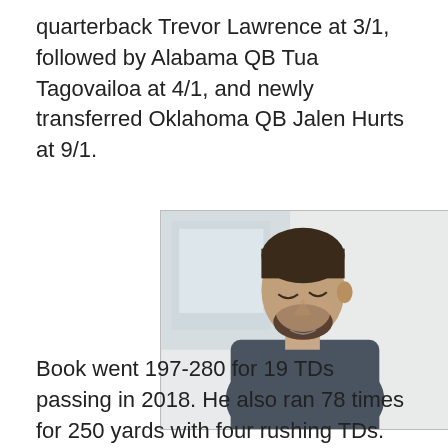quarterback Trevor Lawrence at 3/1, followed by Alabama QB Tua Tagovailoa at 4/1, and newly transferred Oklahoma QB Jalen Hurts at 9/1.
[Figure (photo): A young man with dark hair and a beard wearing a dark grey v-neck t-shirt, looking downward, in a bright indoor setting.]
Book went 197-280 for 19 TDs passing in 2018. He also ran 78 times for 250 yards with four rushing TDs. He finished sixth nationally with a 70.4 completion